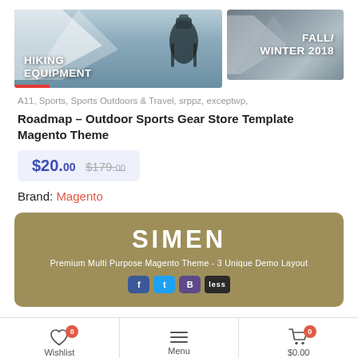[Figure (screenshot): Two promotional banners side by side: left shows 'HIKING EQUIPMENT' with a backpack over mountain scenery; right shows 'FALL/WINTER 2018' with mountain scenery.]
A11, Sports, Sports Outdoors & Travel, srppz, exceptwp,
Roadmap – Outdoor Sports Gear Store Template Magento Theme
$20.00 $179.00
Brand: Magento
[Figure (screenshot): SIMEN – Premium Multi Purpose Magento Theme – 3 Unique Demo Layout banner with social media icons]
Wishlist 0   Menu   $0.00 0